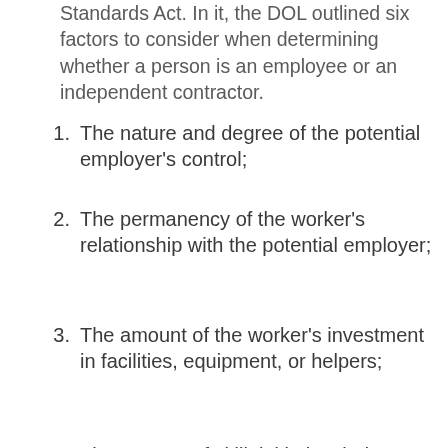Standards Act. In it, the DOL outlined six factors to consider when determining whether a person is an employee or an independent contractor.
The nature and degree of the potential employer's control;
The permanency of the worker's relationship with the potential employer;
The amount of the worker's investment in facilities, equipment, or helpers;
The amount of skill, initiative, judgment, or foresight required for the worker's